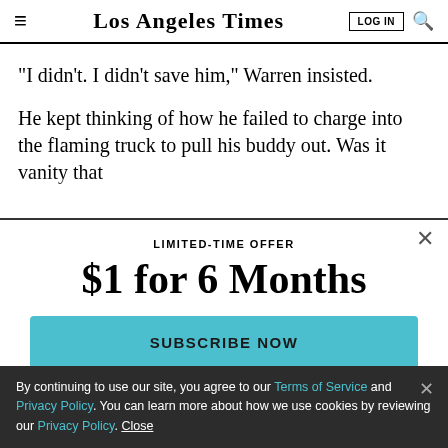Los Angeles Times
"I didn't. I didn't save him," Warren insisted.
He kept thinking of how he failed to charge into the flaming truck to pull his buddy out. Was it vanity that
LIMITED-TIME OFFER
$1 for 6 Months
SUBSCRIBE NOW
By continuing to use our site, you agree to our Terms of Service and Privacy Policy. You can learn more about how we use cookies by reviewing our Privacy Policy. Close